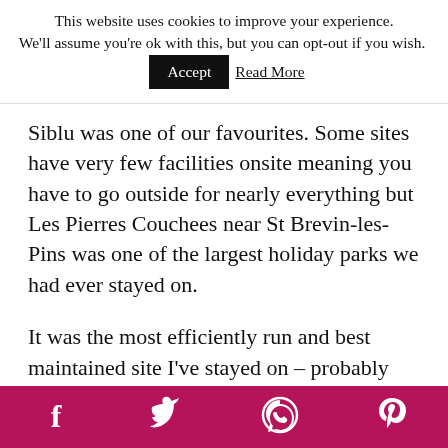This website uses cookies to improve your experience. We'll assume you're ok with this, but you can opt-out if you wish. Accept Read More
Siblu was one of our favourites. Some sites have very few facilities onsite meaning you have to go outside for nearly everything but Les Pierres Couchees near St Brevin-les-Pins was one of the largest holiday parks we had ever stayed on.
It was the most efficiently run and best maintained site I've stayed on – probably due to the fact that the whole park is run by Siblu in
Social share bar: Facebook, Twitter, WhatsApp, Pinterest